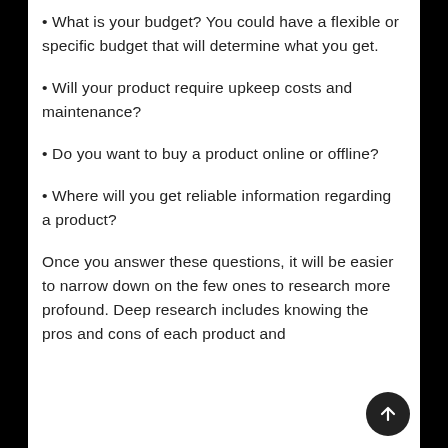• What is your budget? You could have a flexible or specific budget that will determine what you get.
• Will your product require upkeep costs and maintenance?
• Do you want to buy a product online or offline?
• Where will you get reliable information regarding a product?
Once you answer these questions, it will be easier to narrow down on the few ones to research more profound. Deep research includes knowing the pros and cons of each product and